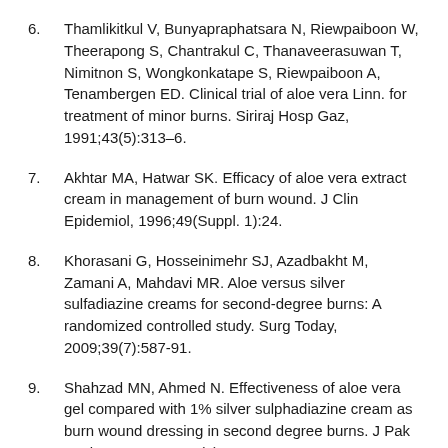6. Thamlikitkul V, Bunyapraphatsara N, Riewpaiboon W, Theerapong S, Chantrakul C, Thanaveerasuwan T, Nimitnon S, Wongkonkatape S, Riewpaiboon A, Tenambergen ED. Clinical trial of aloe vera Linn. for treatment of minor burns. Siriraj Hosp Gaz, 1991;43(5):313–6.
7. Akhtar MA, Hatwar SK. Efficacy of aloe vera extract cream in management of burn wound. J Clin Epidemiol, 1996;49(Suppl. 1):24.
8. Khorasani G, Hosseinimehr SJ, Azadbakht M, Zamani A, Mahdavi MR. Aloe versus silver sulfadiazine creams for second-degree burns: A randomized controlled study. Surg Today, 2009;39(7):587-91.
9. Shahzad MN, Ahmed N. Effectiveness of aloe vera gel compared with 1% silver sulphadiazine cream as burn wound dressing in second degree burns. J Pak Med Assoc, 2013;63(2):225-30.
10. Panahi Y, Beiraghdar F, Akbari H, Bekhradi H, Taghizadeh M,